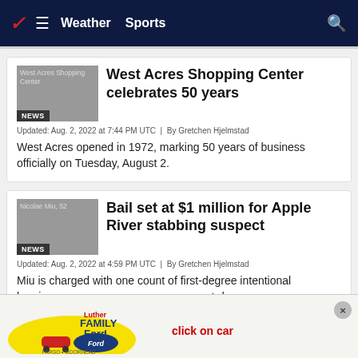Weather  Sports
[Figure (screenshot): West Acres Shopping Center thumbnail with NEWS label]
West Acres Shopping Center celebrates 50 years
Updated: Aug. 2, 2022 at 7:44 PM UTC  |  By Gretchen Hjelmstad
West Acres opened in 1972, marking 50 years of business officially on Tuesday, August 2.
[Figure (screenshot): Nicolae Miu, 52 thumbnail with NEWS label]
Bail set at $1 million for Apple River stabbing suspect
Updated: Aug. 2, 2022 at 4:59 PM UTC  |  By Gretchen Hjelmstad
Miu is charged with one count of first-degree intentional homic... rst-degre...
[Figure (advertisement): Luther Family Ford advertisement with click on car text]